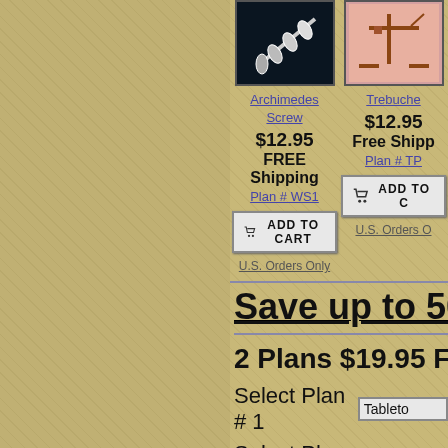[Figure (photo): Product photo of Archimedes Screw woodworking plan]
[Figure (photo): Product photo of Trebuchet woodworking plan]
Archimedes Screw
Trebuchet
$12.95
FREE Shipping
$12.95
Free Shipping
Plan # WS1
Plan # TP
ADD TO CART
ADD TO CART
U.S. Orders Only
U.S. Orders O
Save up to 50%
2 Plans $19.95 FREE
Select Plan # 1
Select Plan # 2
ADD TO CART
3 Plans $24.95 FREE
Select Plan # 1